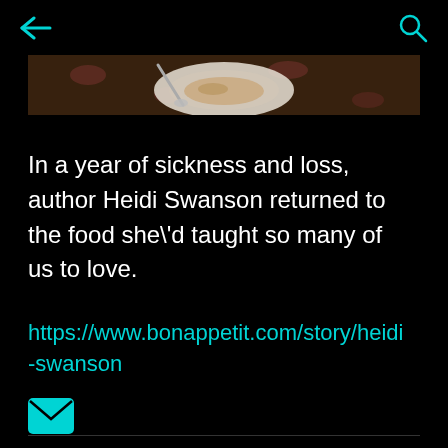[Figure (screenshot): Mobile app screenshot showing navigation bar with back arrow and search icon on black background, partial food photo at top]
In a year of sickness and loss, author Heidi Swanson returned to the food she\'d taught so many of us to love.
https://www.bonappetit.com/story/heidi-swanson